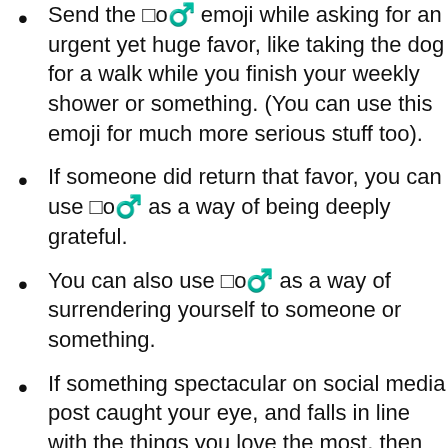Send the 🙇‍♂️ emoji while asking for an urgent yet huge favor, like taking the dog for a walk while you finish your weekly shower or something. (You can use this emoji for much more serious stuff too).
If someone did return that favor, you can use 🙇♂️ as a way of being deeply grateful.
You can also use 🙇♂️ as a way of surrendering yourself to someone or something.
If something spectacular on social media post caught your eye, and falls in line with the things you love the most, then you can use 🙇♂️ as a way of saying that you're down on your knees for it (a music band, art, photography, anything).
🙇♂️ can also be used to show that you're